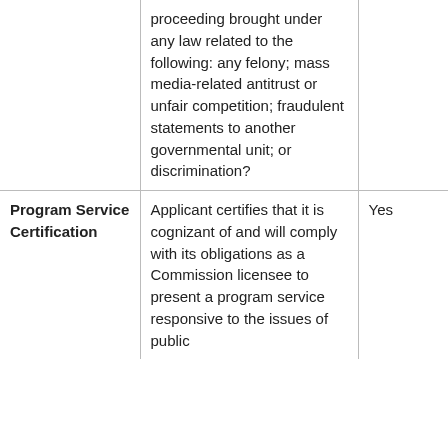|  | Question/Certification | Response |
| --- | --- | --- |
|  | proceeding brought under any law related to the following: any felony; mass media-related antitrust or unfair competition; fraudulent statements to another governmental unit; or discrimination? |  |
| Program Service Certification | Applicant certifies that it is cognizant of and will comply with its obligations as a Commission licensee to present a program service responsive to the issues of public concern of the… | Yes |